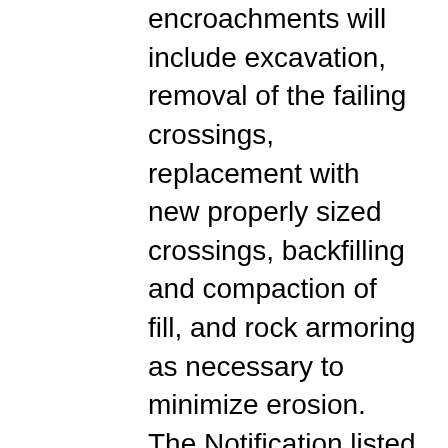encroachments will include excavation, removal of the failing crossings, replacement with new properly sized crossings, backfilling and compaction of fill, and rock armoring as necessary to minimize erosion. The Notification listed the following ten APNs on the application: 046-010-35, 046-010-37, 046-020-05, 046-020-85, 046-020-86, 046-020-87, 046-020-88, 046-020-89, 046-020-90, and 046-550-03. This LSA only covers projects on the following five parcels: 046-020-05, 046-020-86, 046-020-87, 046-020-89, 046-550-